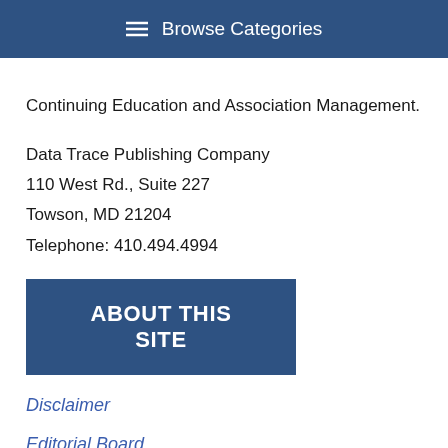Browse Categories
Continuing Education and Association Management.
Data Trace Publishing Company
110 West Rd., Suite 227
Towson, MD 21204
Telephone: 410.494.4994
[Figure (other): Blue button with white uppercase text reading ABOUT THIS SITE]
Disclaimer
Editorial Board